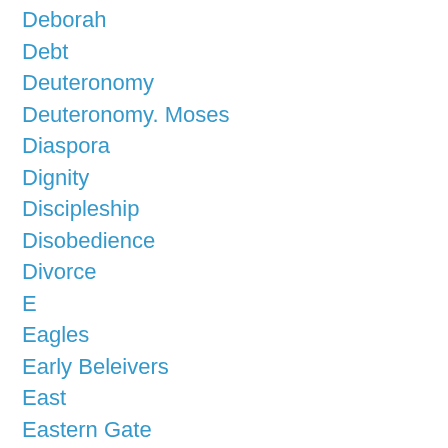Deborah
Debt
Deuteronomy
Deuteronomy. Moses
Diaspora
Dignity
Discipleship
Disobedience
Divorce
E
Eagles
Early Beleivers
East
Eastern Gate
Economy
Education
Egypt
Ein Gedi
Elders
Eliezer
Elijah